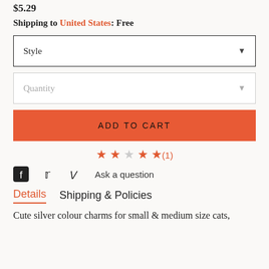$5.29
Shipping to United States: Free
Style
Quantity
ADD TO CART
★★☆★★(1)
Ask a question
Details   Shipping & Policies
Cute silver colour charms for small & medium size cats,